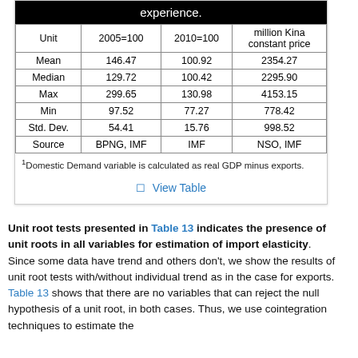| Unit | 2005=100 | 2010=100 | million Kina constant price |
| --- | --- | --- | --- |
| Mean | 146.47 | 100.92 | 2354.27 |
| Median | 129.72 | 100.42 | 2295.90 |
| Max | 299.65 | 130.98 | 4153.15 |
| Min | 97.52 | 77.27 | 778.42 |
| Std. Dev. | 54.41 | 15.76 | 998.52 |
| Source | BPNG, IMF | IMF | NSO, IMF |
1 Domestic Demand variable is calculated as real GDP minus exports.
View Table
Unit root tests presented in Table 13 indicates the presence of unit roots in all variables for estimation of import elasticity. Since some data have trend and others don't, we show the results of unit root tests with/without individual trend as in the case for exports. Table 13 shows that there are no variables that can reject the null hypothesis of a unit root, in both cases. Thus, we use cointegration techniques to estimate the